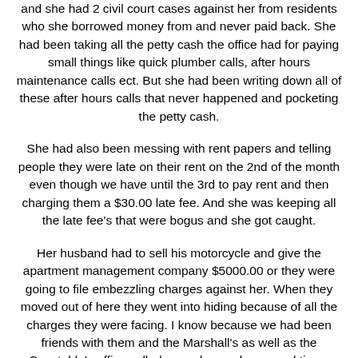and she had 2 civil court cases against her from residents who she borrowed money from and never paid back. She had been taking all the petty cash the office had for paying small things like quick plumber calls, after hours maintenance calls ect. But she had been writing down all of these after hours calls that never happened and pocketing the petty cash.
She had also been messing with rent papers and telling people they were late on their rent on the 2nd of the month even though we have until the 3rd to pay rent and then charging them a $30.00 late fee. And she was keeping all the late fee's that were bogus and she got caught.
Her husband had to sell his motorcycle and give the apartment management company $5000.00 or they were going to file embezzling charges against her. When they moved out of here they went into hiding because of all the charges they were facing. I know because we had been friends with them and the Marshall's as well as the Constable's office called us and came by several times looking for them and asking us if we knew their new address.